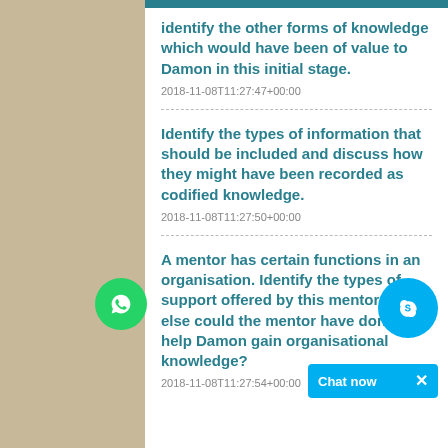identify the other forms of knowledge which would have been of value to Damon in this initial stage.
2018-11-08T11:27:47+00:00
Identify the types of information that should be included and discuss how they might have been recorded as codified knowledge.
2018-11-08T11:27:50+00:00
A mentor has certain functions in an organisation. Identify the types of support offered by this mentor. What else could the mentor have done to help Damon gain organisational knowledge?
2018-11-08T11:27:54+00:00